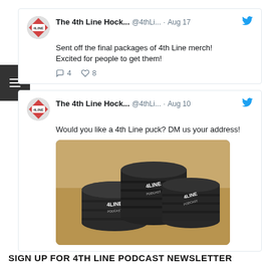[Figure (screenshot): Tweet from The 4th Line Hock... (@4thLi...) dated Aug 17: 'Sent off the final packages of 4th Line merch! Excited for people to get them!' with 4 comments and 8 likes.]
[Figure (screenshot): Tweet from The 4th Line Hock... (@4thLi...) dated Aug 10: 'Would you like a 4th Line puck? DM us your address!' with photo of hockey pucks in a box.]
SIGN UP FOR 4TH LINE PODCAST NEWSLETTER